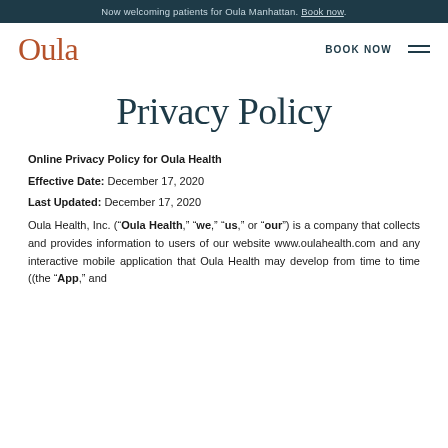Now welcoming patients for Oula Manhattan. Book now.
Oula | BOOK NOW
Privacy Policy
Online Privacy Policy for Oula Health
Effective Date: December 17, 2020
Last Updated: December 17, 2020
Oula Health, Inc. (“Oula Health,” “we,” “us,” or “our”) is a company that collects and provides information to users of our website www.oulahealth.com and any interactive mobile application that Oula Health may develop from time to time ((the “App,” and